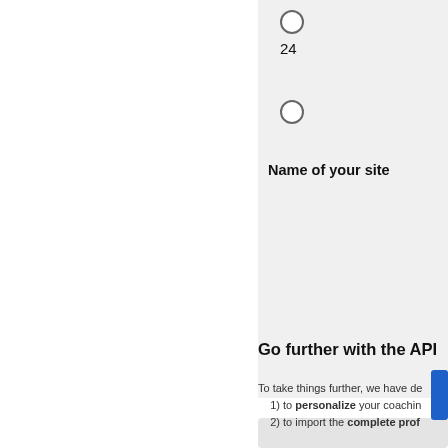24
Name of your site
Go further with the API
To take things further, we have de
1) to personalize your coachin
2) to import the complete prof